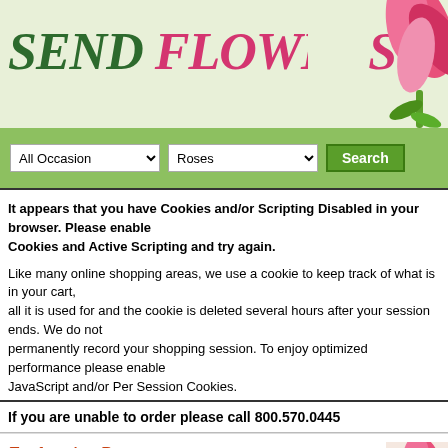SEND FLOWERS TODAY
[Figure (illustration): Pink tulip flower illustration in top-right corner of banner]
All Occasion [dropdown] Roses [dropdown] Search [button]
It appears that you have Cookies and/or Scripting Disabled in your browser. Please enable Cookies and Active Scripting and try again.
Like many online shopping areas, we use a cookie to keep track of what is in your shopping cart, that is all it is used for and the cookie is deleted several hours after your session ends. We do not permanently record your shopping session. To enjoy optimized performance of this site please enable JavaScript and/or Per Session Cookies.
If you are unable to order please call 800.570.0445
Enchanting Romance
Be swept off your feet with an Enchanting Romance! One dozen pink